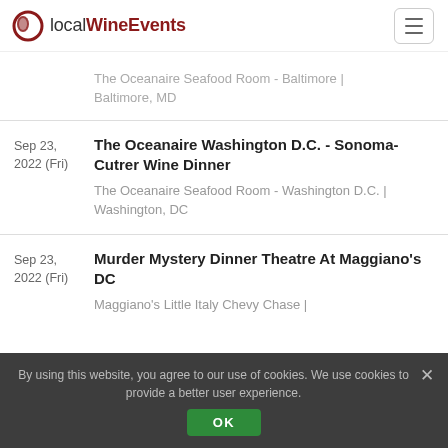localWineEvents
The Oceanaire Seafood Room - Baltimore | Baltimore, MD
Sep 23, 2022 (Fri) | The Oceanaire Washington D.C. - Sonoma-Cutrer Wine Dinner | The Oceanaire Seafood Room - Washington D.C. | Washington, DC
Sep 23, 2022 (Fri) | Murder Mystery Dinner Theatre At Maggiano's DC | Maggiano's Little Italy Chevy Chase |
By using this website, you agree to our use of cookies. We use cookies to provide a better user experience. OK